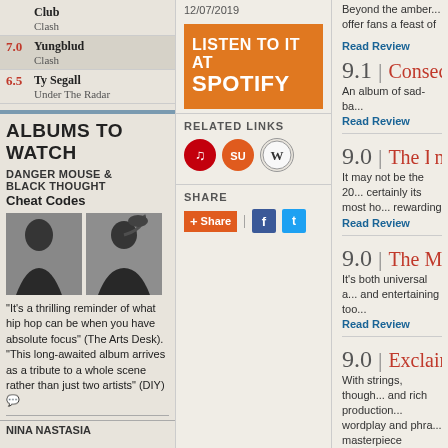Club / Clash
7.0 Yungblud / Clash
6.5 Ty Segall / Under The Radar
ALBUMS TO WATCH
DANGER MOUSE & BLACK THOUGHT
Cheat Codes
[Figure (photo): Two silhouetted figures album art for Danger Mouse & Black Thought]
"It's a thrilling reminder of what hip hop can be when you have absolute focus" (The Arts Desk). "This long-awaited album arrives as a tribute to a whole scene rather than just two artists" (DIY)
NINA NASTASIA
12/07/2019
LISTEN TO IT AT SPOTIFY
RELATED LINKS
SHARE
Beyond the amber... offer fans a feast of
Read Review
9.1 | Consec...
An album of sad-ba...
Read Review
9.0 | The Li...
It may not be the 20... certainly its most ho... rewarding
Read Review
9.0 | The M...
It's both universal a... and entertaining too...
Read Review
9.0 | Exclaim...
With strings, though... and rich production... wordplay and phra... masterpiece
Read Review